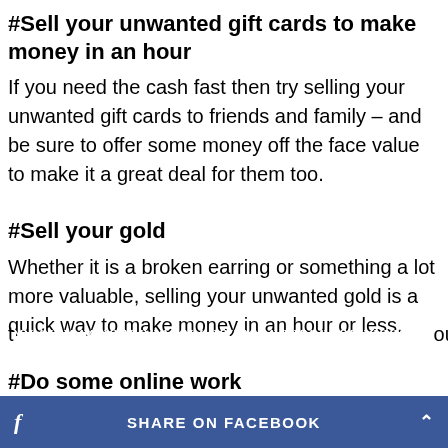#Sell your unwanted gift cards to make money in an hour
If you need the cash fast then try selling your unwanted gift cards to friends and family – and be sure to offer some money off the face value to make it a great deal for them too.
#Sell your gold
Whether it is a broken earring or something a lot more valuable, selling your unwanted gold is a quick way to make money in an hour or less.
#Do some online work
t… ou to
[Figure (other): Facebook share button bar at the bottom of the page with 'f' logo and 'SHARE ON FACEBOOK' text and an up-arrow]